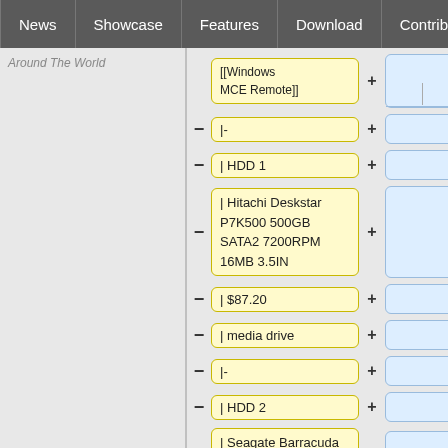News | Showcase | Features | Download | Contribute | Support
Around The World
[[Windows MCE Remote]]
|-
| HDD 1
| Hitachi Deskstar P7K500 500GB SATA2 7200RPM 16MB 3.5IN
| $87.20
| media drive
|-
| HDD 2
| Seagate Barracuda 7200.10 80GB SATA2 8MB